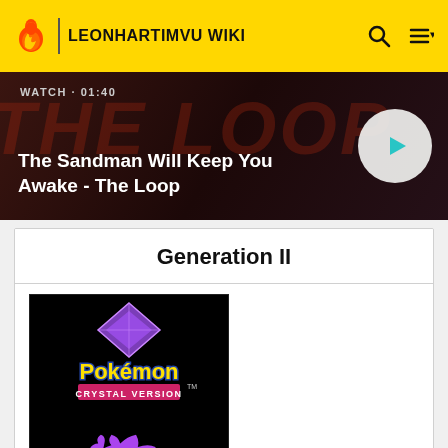LEONHARTIMVU WIKI
[Figure (screenshot): Video banner showing 'The Sandman Will Keep You Awake - The Loop' with WATCH · 01:40 label and a play button]
Generation II
[Figure (photo): Pokémon Crystal Version title screen showing the logo with a purple crystal diamond, Suicune silhouette in purple, and '©2001 GAME FREAK inc.' text on a black background]